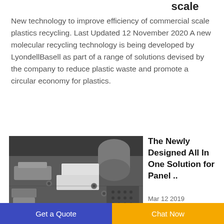scale
New technology to improve efficiency of commercial scale plastics recycling. Last Updated 12 November 2020 A new molecular recycling technology is being developed by LyondellBasell as part of a range of solutions devised by the company to reduce plastic waste and promote a circular economy for plastics.
[Figure (photo): Close-up photo of industrial machinery with metal components, bolts, and panels on a machine surface.]
The Newly Designed All In One Solution for Panel ..
Mar 12 2019
Get a Quote   Chat Now